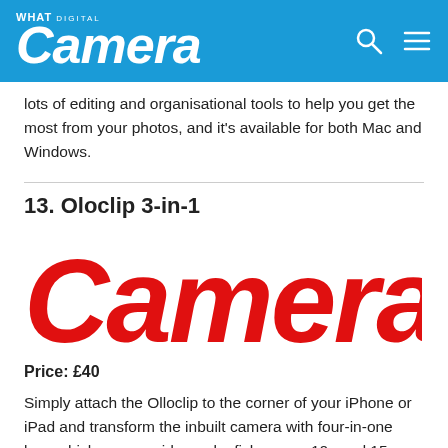What Digital Camera
The go-to editor for many photographers, Lightroom features lots of editing and organisational tools to help you get the most from your photos, and it's available for both Mac and Windows.
13. Oloclip 3-in-1
[Figure (logo): Large red 'Camera' text logo on white background]
Price: £40
Simply attach the Olloclip to the corner of your iPhone or iPad and transform the inbuilt camera with four-in-one lens which covers wide-angle, fish-eye or 10x and 15x macro.